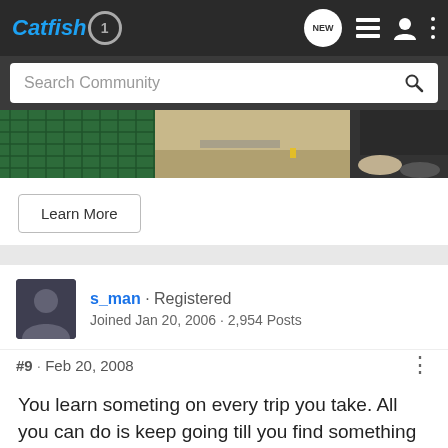Catfish1 – Navigation bar with NEW, list, user, and menu icons
Search Community
[Figure (photo): Partial outdoor photo showing green mesh fence/net on the left and sandy ground with feet/shoes on the right.]
Learn More
s_man · Registered
Joined Jan 20, 2006 · 2,954 Posts
#9 · Feb 20, 2008
You learn someting on every trip you take. All you can do is keep going till you find something thats working.
[Figure (photo): Advertisement banner: YOUR NEW FAVORITE SPORT – EXPLORE HOW TO RESPONSIBLY PARTICIPATE IN THE SHOOTING SPORTS. START HERE!]